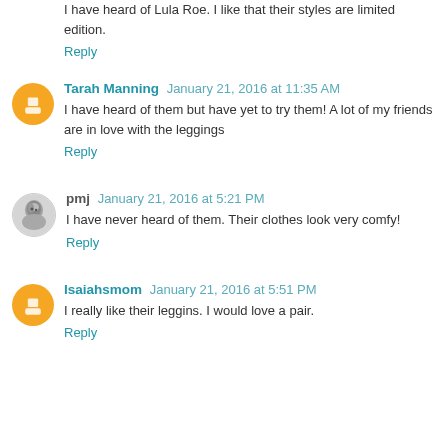I have heard of Lula Roe. I like that their styles are limited edition.
Reply
Tarah Manning  January 21, 2016 at 11:35 AM
I have heard of them but have yet to try them! A lot of my friends are in love with the leggings
Reply
pmj  January 21, 2016 at 5:21 PM
I have never heard of them. Their clothes look very comfy!
Reply
Isaiahsmom  January 21, 2016 at 5:51 PM
I really like their leggins. I would love a pair.
Reply